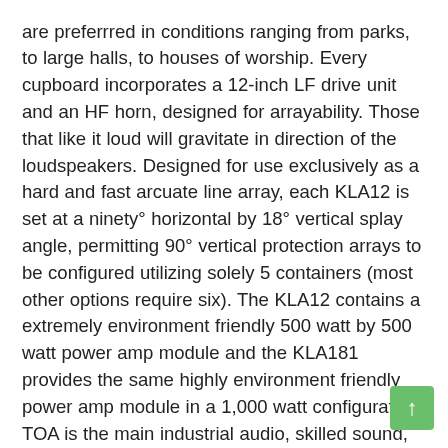are preferrred in conditions ranging from parks, to large halls, to houses of worship. Every cupboard incorporates a 12-inch LF drive unit and an HF horn, designed for arrayability. Those that like it loud will gravitate in direction of the loudspeakers. Designed for use exclusively as a hard and fast arcuate line array, each KLA12 is set at a ninety° horizontal by 18° vertical splay angle, permitting 90° vertical protection arrays to be configured utilizing solely 5 containers (most other options require six). The KLA12 contains a extremely environment friendly 500 watt by 500 watt power amp module and the KLA181 provides the same highly environment friendly power amp module in a 1,000 watt configuration. TOA is the main industrial audio, skilled sound, and security product producer in the world. Horizontal line arrays, in contrast, have a very slim horizontal output pattern and a tall vertical sample. Energetic line array speaker products are hottest in United States, South Korea, and Germany. Complete Line Array Speaker System – Worth is for two Active Subwoofers and